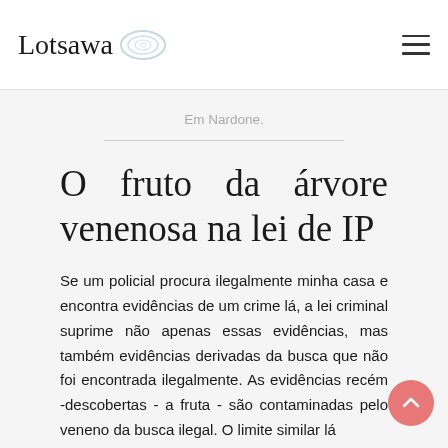Lotsawa
Em Nardone.
O fruto da árvore venenosa na lei de IP
Se um policial procura ilegalmente minha casa e encontra evidências de um crime lá, a lei criminal suprime não apenas essas evidências, mas também evidências derivadas da busca que não foi encontrada ilegalmente. As evidências recém -descobertas - a fruta - são contaminadas pelo veneno da busca ilegal. O limite similar lá...